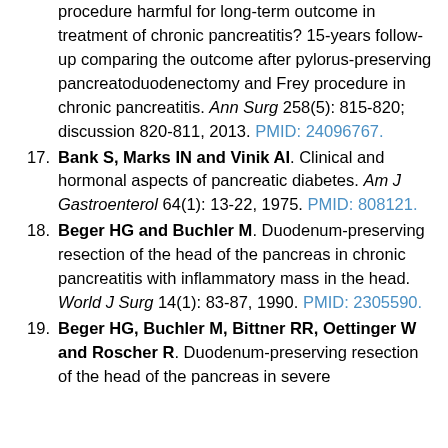procedure harmful for long-term outcome in treatment of chronic pancreatitis? 15-years follow-up comparing the outcome after pylorus-preserving pancreatoduodenectomy and Frey procedure in chronic pancreatitis. Ann Surg 258(5): 815-820; discussion 820-811, 2013. PMID: 24096767.
17. Bank S, Marks IN and Vinik AI. Clinical and hormonal aspects of pancreatic diabetes. Am J Gastroenterol 64(1): 13-22, 1975. PMID: 808121.
18. Beger HG and Buchler M. Duodenum-preserving resection of the head of the pancreas in chronic pancreatitis with inflammatory mass in the head. World J Surg 14(1): 83-87, 1990. PMID: 2305590.
19. Beger HG, Buchler M, Bittner RR, Oettinger W and Roscher R. Duodenum-preserving resection of the head of the pancreas in severe...